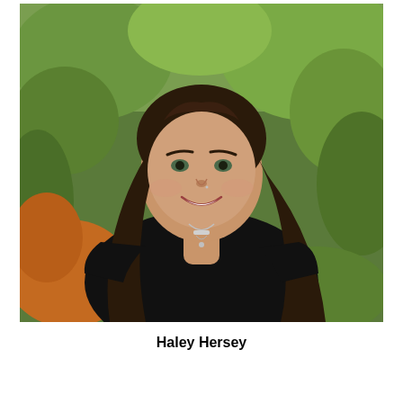[Figure (photo): Portrait photo of a young woman with long dark hair, smiling, wearing a black t-shirt and a silver necklace, posed outdoors with green foliage in the background.]
Haley Hersey